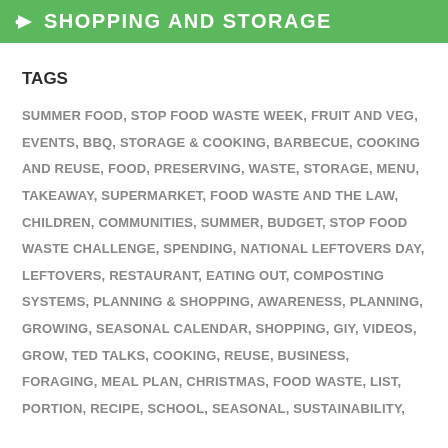SHOPPING AND STORAGE
TAGS
SUMMER FOOD, STOP FOOD WASTE WEEK, FRUIT AND VEG, EVENTS, BBQ, STORAGE & COOKING, BARBECUE, COOKING AND REUSE, FOOD, PRESERVING, WASTE, STORAGE, MENU, TAKEAWAY, SUPERMARKET, FOOD WASTE AND THE LAW, CHILDREN, COMMUNITIES, SUMMER, BUDGET, STOP FOOD WASTE CHALLENGE, SPENDING, NATIONAL LEFTOVERS DAY, LEFTOVERS, RESTAURANT, EATING OUT, COMPOSTING SYSTEMS, PLANNING & SHOPPING, AWARENESS, PLANNING, GROWING, SEASONAL CALENDAR, SHOPPING, GIY, VIDEOS, GROW, TED TALKS, COOKING, REUSE, BUSINESS, FORAGING, MEAL PLAN, CHRISTMAS, FOOD WASTE, LIST, PORTION, RECIPE, SCHOOL, SEASONAL, SUSTAINABILITY,